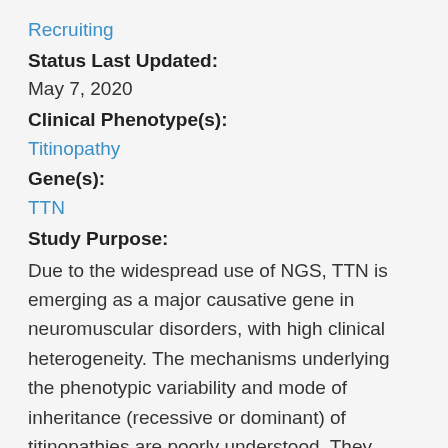Recruiting
Status Last Updated:
May 7, 2020
Clinical Phenotype(s):
Titinopathy
Gene(s):
TTN
Study Purpose:
Due to the widespread use of NGS, TTN is emerging as a major causative gene in neuromuscular disorders, with high clinical heterogeneity. The mechanisms underlying the phenotypic variability and mode of inheritance (recessive or dominant) of titinopathies are poorly understood. They involve the primordial structural functions of titin on the formation and stability of the